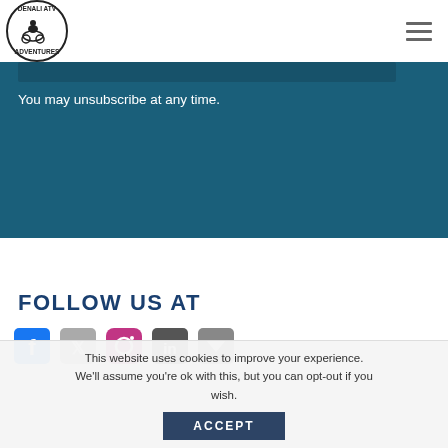[Figure (logo): Denali ATV Adventures circular logo with ATV rider silhouette]
You may unsubscribe at any time.
FOLLOW US AT
[Figure (infographic): Social media icons: Facebook, Twitter/X, Instagram, and additional icons]
This website uses cookies to improve your experience. We'll assume you're ok with this, but you can opt-out if you wish.
ACCEPT